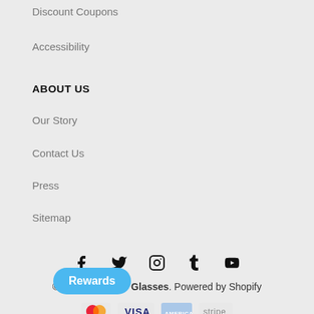Discount Coupons
Accessibility
ABOUT US
Our Story
Contact Us
Press
Sitemap
[Figure (infographic): Social media icons: Facebook, Twitter, Instagram, Tumblr, YouTube]
© 2022, Anytime Glasses. Powered by Shopify
[Figure (infographic): Payment method logos: Mastercard, Visa, American Express, Stripe]
Rewards